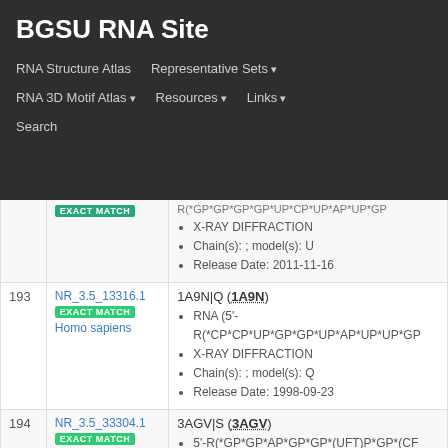BGSU RNA Site
RNA Structure Atlas | Representative Sets | RNA 3D Motif Atlas | Resources | Links | Search
| # | ID | Description |
| --- | --- | --- |
|  | EXACT MATCH | RNA (5'- R(*GP*GP*GP*GP*UP*CP*UP*AP*UP*GP... • X-RAY DIFFRACTION • Chain(s): ; model(s): U • Release Date: 2011-11-16 |
| 193 | NR_3.5_13316.1 EXACT MATCH Homo sapiens | 1A9N|Q (1A9N) • RNA (5'- R(*CP*CP*UP*GP*GP*UP*AP*UP*UP*GP... • X-RAY DIFFRACTION • Chain(s): ; model(s): Q • Release Date: 1998-09-23 |
| 194 | NR_3.5_33304.1 EXACT MATCH | 3AGV|S (3AGV) • 5'-R(*GP*GP*AP*GP*GP*(UFT)P*GP*(CF... • X-RAY DIFFRACTION |